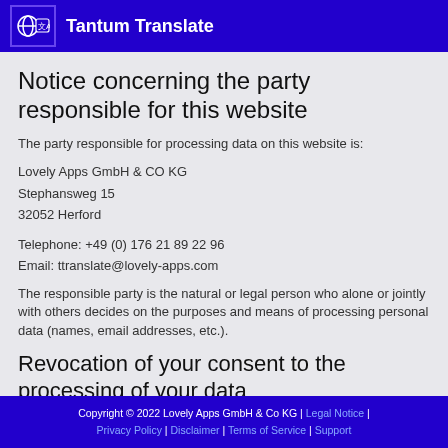Tantum Translate
Notice concerning the party responsible for this website
The party responsible for processing data on this website is:
Lovely Apps GmbH & CO KG
Stephansweg 15
32052 Herford
Telephone: +49 (0) 176 21 89 22 96
Email: ttranslate@lovely-apps.com
The responsible party is the natural or legal person who alone or jointly with others decides on the purposes and means of processing personal data (names, email addresses, etc.).
Revocation of your consent to the processing of your data
Copyright © 2022 Lovely Apps GmbH & Co KG | Legal Notice | Privacy Policy | Disclaimer | Terms of Service | Support